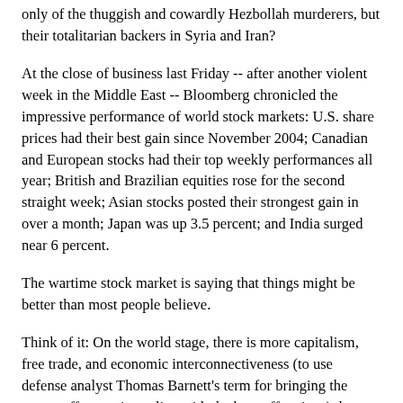only of the thuggish and cowardly Hezbollah murderers, but their totalitarian backers in Syria and Iran?
At the close of business last Friday -- after another violent week in the Middle East -- Bloomberg chronicled the impressive performance of world stock markets: U.S. share prices had their best gain since November 2004; Canadian and European stocks had their top weekly performances all year; British and Brazilian equities rose for the second straight week; Asian stocks posted their strongest gain in over a month; Japan was up 3.5 percent; and India surged near 6 percent.
The wartime stock market is saying that things might be better than most people believe.
Think of it: On the world stage, there is more capitalism, free trade, and economic interconnectiveness (to use defense analyst Thomas Barnett's term for bringing the worse-off countries online with the best-off nations) than ever before. Because of this, literally hundreds of millions of share-owning investors are voting daily on the great issues of war